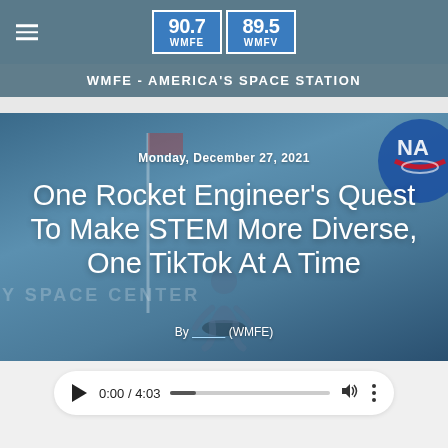90.7 WMFE | 89.5 WMFV
WMFE - AMERICA'S SPACE STATION
[Figure (photo): Blue-tinted photo of a person sitting in front of Kennedy Space Center sign with NASA logo visible in upper right corner. Text overlays include date, article title, and byline.]
One Rocket Engineer’s Quest To Make STEM More Diverse, One TikTok At A Time
Monday, December 27, 2021
By (WMFE)